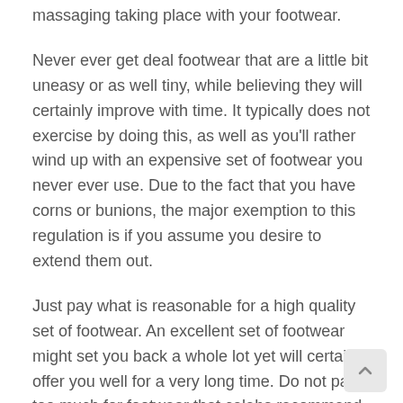massaging taking place with your footwear.
Never ever get deal footwear that are a little bit uneasy or as well tiny, while believing they will certainly improve with time. It typically does not exercise by doing this, as well as you'll rather wind up with an expensive set of footwear you never ever use. Due to the fact that you have corns or bunions, the major exemption to this regulation is if you assume you desire to extend them out.
Just pay what is reasonable for a high quality set of footwear. An excellent set of footwear might set you back a whole lot yet will certainly offer you well for a very long time. Do not pay too much for footwear that celebs recommend.
If your collection is big sufficient, you can constantly discover footwear to use for any type of event. Individuals are mosting likely to see your shoes, as well as you might